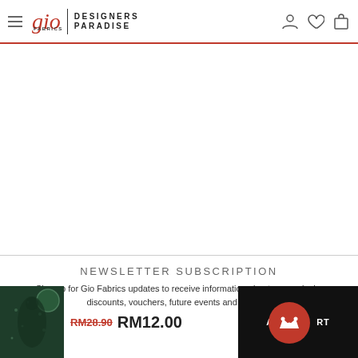Gio Fabrics | Designers Paradise — navigation header with hamburger menu, logo, account icon, wishlist icon, cart icon
[Figure (illustration): Empty white content area below the navigation header, separated by a horizontal line]
NEWSLETTER SUBSCRIPTION
Sign up for Gio Fabrics updates to receive information about new arrivals, discounts, vouchers, future events and specials
[Figure (photo): Product thumbnail showing a dark green floral dress on the bottom left]
RM28.90 RM12.00
ADD TO CART